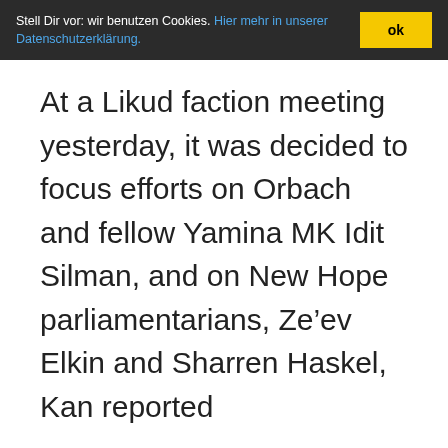Stell Dir vor: wir benutzen Cookies. Hier mehr in unserer Datenschutzerklärung.   ok
At a Likud faction meeting yesterday, it was decided to focus efforts on Orbach and fellow Yamina MK Idit Silman, and on New Hope parliamentarians, Ze’ev Elkin and Sharren Haskel, Kan reported
Nachrichten Kategorie: Weltöffentlichkeit / World Public Opinion, Nachrichten